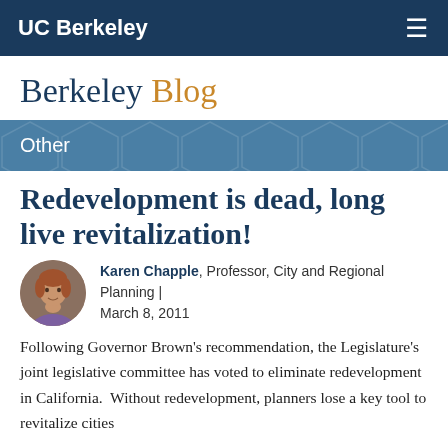UC Berkeley
Berkeley Blog
Other
Redevelopment is dead, long live revitalization!
Karen Chapple, Professor, City and Regional Planning | March 8, 2011
Following Governor Brown's recommendation, the Legislature's joint legislative committee has voted to eliminate redevelopment in California.  Without redevelopment, planners lose a key tool to revitalize cities